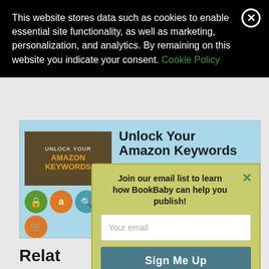This website stores data such as cookies to enable essential site functionality, as well as marketing, personalization, and analytics. By remaining on this website you indicate your consent. Cookie Policy
[Figure (screenshot): BookBaby ad banner showing book cover 'Unlock Your Amazon Keywords' with icons and text: 'Unlock Your Amazon Keywords - Harness the power of search terms to help readers find and buy your eBook.']
Join our email list to learn how BookBaby can help you publish!
Your email
Sign Me Up
Relat